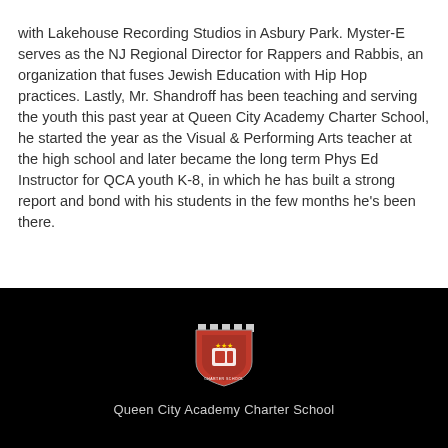with Lakehouse Recording Studios in Asbury Park. Myster-E serves as the NJ Regional Director for Rappers and Rabbis, an organization that fuses Jewish Education with Hip Hop practices. Lastly, Mr. Shandroff has been teaching and serving the youth this past year at Queen City Academy Charter School, he started the year as the Visual & Performing Arts teacher at the high school and later became the long term Phys Ed Instructor for QCA youth K-8, in which he has built a strong report and bond with his students in the few months he's been there.
[Figure (logo): Queen City Academy Charter School shield/crest logo — red and black shield with castle battlements on top, on black background]
Queen City Academy Charter School